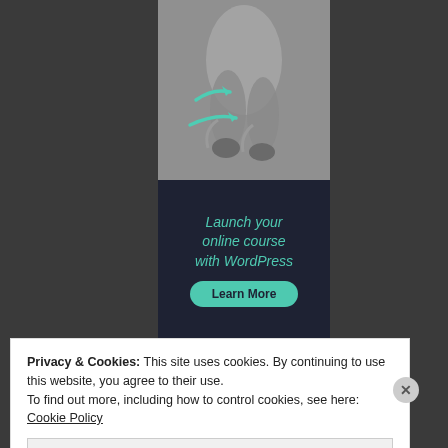[Figure (illustration): A promotional advertisement panel showing ballet feet in pointe shoes (gray tones) with two teal/turquoise arrows pointing right overlaid on the image, followed by a dark navy section with italic teal text reading 'Launch your online course with WordPress' and a teal rounded button 'Learn More'.]
Privacy & Cookies: This site uses cookies. By continuing to use this website, you agree to their use.
To find out more, including how to control cookies, see here: Cookie Policy
Close and accept